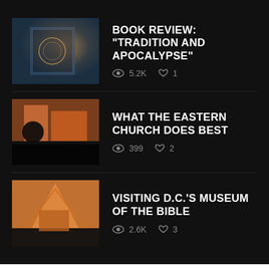BOOK REVIEW: “TRADITION AND APOCALYPSE” | 5.2K views | 1 like
WHAT THE EASTERN CHURCH DOES BEST | 399 views | 2 likes
VISITING D.C.’S MUSEUM OF THE BIBLE | 2.6K views | 3 likes
SUBSCRIBE VIA EMAIL
Enter your email address to subscribe to this blog and receive notifications of new posts by email.